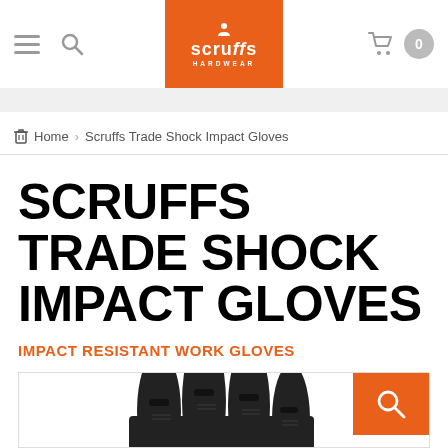Scruffs Hardwear — navigation header with logo, search, and cart
Home > Scruffs Trade Shock Impact Gloves
SCRUFFS TRADE SHOCK IMPACT GLOVES
IMPACT RESISTANT WORK GLOVES
[Figure (photo): Black impact-resistant work gloves shown close up, fingers pointing upward, with rubberized knuckle protection pads. Orange magnify/search button in top-right corner of image frame.]